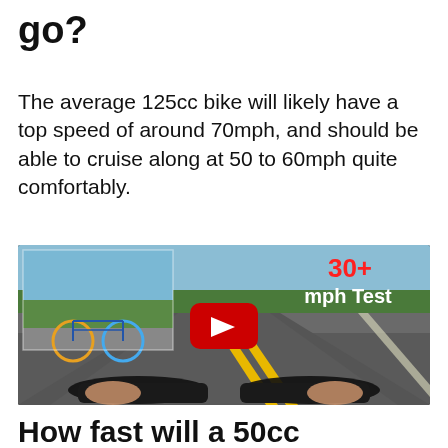go?
The average 125cc bike will likely have a top speed of around 70mph, and should be able to cruise along at 50 to 60mph quite comfortably.
[Figure (screenshot): YouTube video thumbnail showing a first-person view of riding a motorized bicycle on a road, with an inset image of the bicycle and text '30+ mph Test' overlay and a red YouTube play button]
How fast will a 50cc motorized bicycle go?